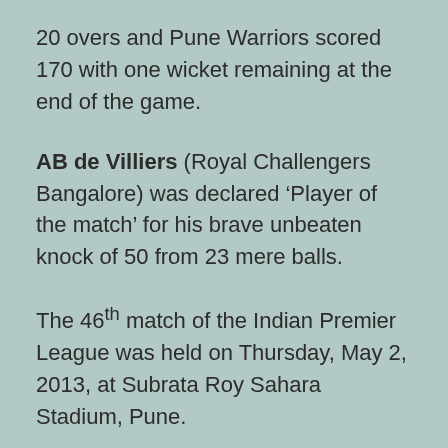20 overs and Pune Warriors scored 170 with one wicket remaining at the end of the game.
AB de Villiers (Royal Challengers Bangalore) was declared ‘Player of the match’ for his brave unbeaten knock of 50 from 23 mere balls.
The 46th match of the Indian Premier League was held on Thursday, May 2, 2013, at Subrata Roy Sahara Stadium, Pune.
Earlier, Virat Kohli, the skipper of Royal Challengers Bangalore, won the toss and wanted the rival team to chase. Sourabh